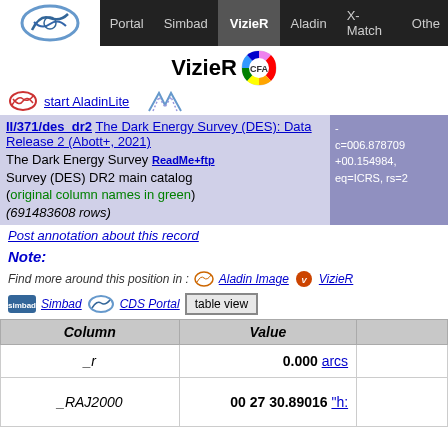Portal | Simbad | VizieR | Aladin | X-Match | Other
VizieR CFA
start AladinLite
II/371/des_dr2 The Dark Energy Survey (DES): Data Release 2 (Abott+, 2021)
The Dark Energy Survey (DES) DR2 main catalog (original column names in green) (691483608 rows)
ReadMe+ftp
- c=006.878709+00.154984, eq=ICRS, rs=2
Post annotation about this record
Note:
Find more around this position in : Aladin Image   VizieR
Simbad   CDS Portal   table view
| Column | Value |  |
| --- | --- | --- |
| _r | 0.000 | arcs... |
| _RAJ2000 | 00 27 30.89016 | "h:... |